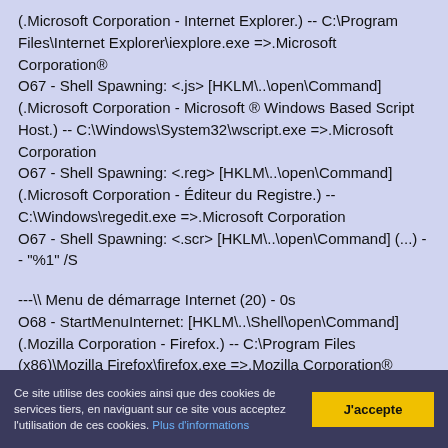(.Microsoft Corporation - Internet Explorer.) -- C:\Program Files\Internet Explorer\iexplore.exe =>.Microsoft Corporation® O67 - Shell Spawning: <.js> [HKLM\..\open\Command] (.Microsoft Corporation - Microsoft ® Windows Based Script Host.) -- C:\Windows\System32\wscript.exe =>.Microsoft Corporation O67 - Shell Spawning: <.reg> [HKLM\..\open\Command] (.Microsoft Corporation - Éditeur du Registre.) -- C:\Windows\regedit.exe =>.Microsoft Corporation O67 - Shell Spawning: <.scr> [HKLM\..\open\Command] (...) -- "%1" /S
---\ Menu de démarrage Internet (20) - 0s O68 - StartMenuInternet: [HKLM\..\Shell\open\Command] (.Mozilla Corporation - Firefox.) -- C:\Program Files (x86)\Mozilla Firefox\firefox.exe =>.Mozilla Corporation® O68 - StartMenuInternet: [HKLM\..\Shell\open\Command] (.Google Inc. - Google Chrome.) -- C:\Program Files (x86)\Google\Chrome\Application\chrome.exe =>.Google Inc®
Ce site utilise des cookies ainsi que des cookies de services tiers, en naviguant sur ce site vous acceptez l'utilisation de ces cookies. Plus d'informations